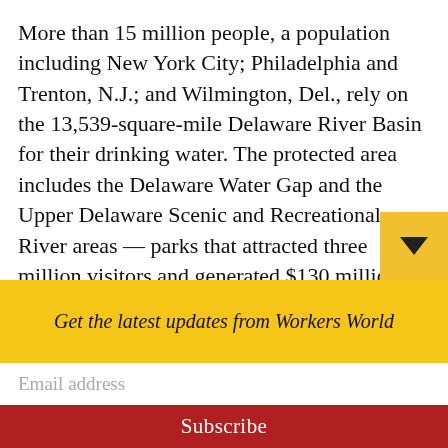More than 15 million people, a population including New York City; Philadelphia and Trenton, N.J.; and Wilmington, Del., rely on the 13,539-square-mile Delaware River Basin for their drinking water. The protected area includes the Delaware Water Gap and the Upper Delaware Scenic and Recreational River areas — parks that attracted three million visitors and generated $130 million in economic activity in 2019, according to the National Parks Conservation Association.
Environmental and community activists
Get the latest updates from Workers World
Email address
Subscribe